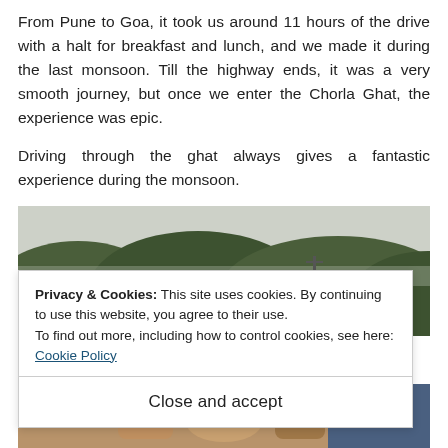From Pune to Goa, it took us around 11 hours of the drive with a halt for breakfast and lunch, and we made it during the last monsoon. Till the highway ends, it was a very smooth journey, but once we enter the Chorla Ghat, the experience was epic.
Driving through the ghat always gives a fantastic experience during the monsoon.
[Figure (photo): A landscape photograph showing a misty road through green hills during monsoon season, with overcast sky.]
Privacy & Cookies: This site uses cookies. By continuing to use this website, you agree to their use.
To find out more, including how to control cookies, see here: Cookie Policy
Close and accept
[Figure (photo): A close-up photograph of hands holding a small cup of chai tea.]